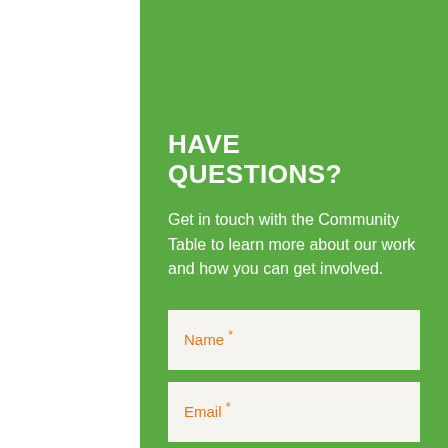HAVE QUESTIONS?
Get in touch with the Community Table to learn more about our work and how you can get involved.
Name *
Email *
Subject